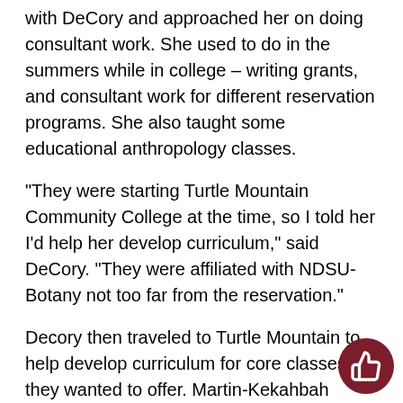with DeCory and approached her on doing consultant work. She used to do in the summers while in college – writing grants, and consultant work for different reservation programs.  She also taught some educational anthropology classes.
“They were starting Turtle Mountain Community College at the time, so I told her I’d help her develop curriculum,” said DeCory.  “They were affiliated with NDSU-Botany not too far from the reservation.”
Decory then traveled to Turtle Mountain to help develop curriculum for core classes they wanted to offer.  Martin-Kekahbah wanted her to create the curriculum for the classes offered at the start of their fall semester.  That meant just two and a half months after Decory’s graduation.  DeCory eventually agreed, jumped right in and began her research. She looked at courses offered by other institutions. The tw